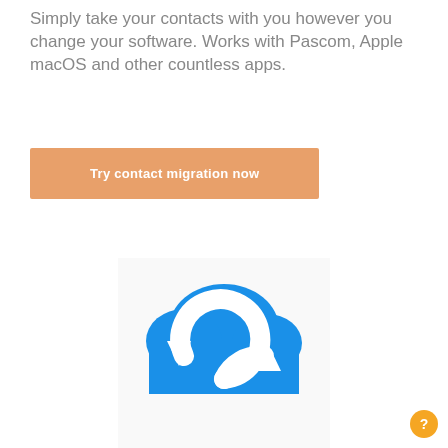Simply take your contacts with you however you change your software. Works with Pascom, Apple macOS and other countless apps.
Try contact migration now
[Figure (logo): Blue cloud icon with circular sync arrows in white, representing contact migration service]